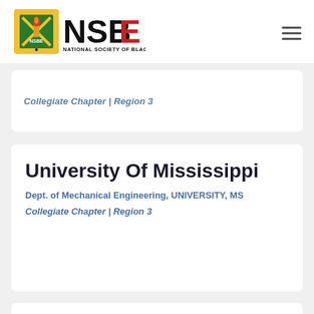[Figure (logo): NSBE National Society of Black Engineers logo with torch and crossed staffs emblem]
Collegiate Chapter | Region 3
University Of Mississippi
Dept. of Mechanical Engineering, UNIVERSITY, MS
Collegiate Chapter | Region 3